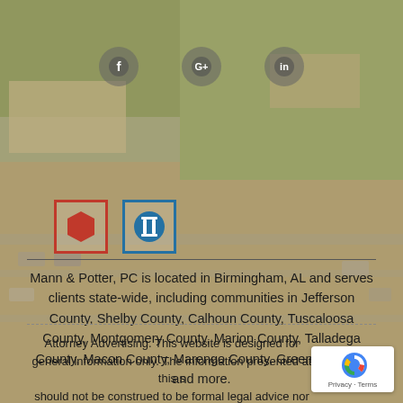[Figure (photo): Aerial/overhead photo of a parking lot and buildings with trees, used as background]
[Figure (logo): Red hexagon logo (Mann & Potter) inside red-bordered box]
[Figure (logo): Blue column/pillar logo inside blue-bordered box]
Mann & Potter, PC is located in Birmingham, AL and serves clients state-wide, including communities in Jefferson County, Shelby County, Calhoun County, Tuscaloosa County, Montgomery County, Marion County, Talladega County, Macon County, Marengo County, Greene County, and more.
Attorney Advertising. This website is designed for general information only. The information presented at this site should not be construed to be formal legal advice nor the formation of a lawyer/client relationship.